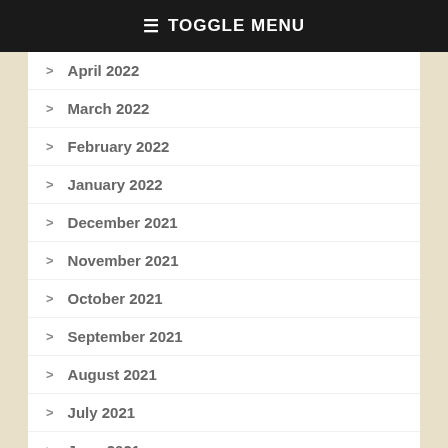☰ TOGGLE MENU
April 2022
March 2022
February 2022
January 2022
December 2021
November 2021
October 2021
September 2021
August 2021
July 2021
June 2021
May 2021
April 2021
March 2021
February 2021